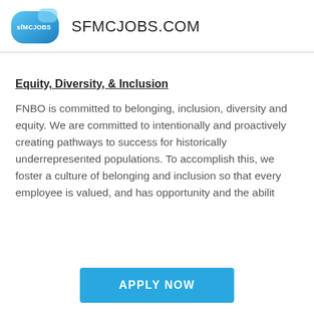SFMCJOBS.COM
Equity, Diversity, & Inclusion
FNBO is committed to belonging, inclusion, diversity and equity. We are committed to intentionally and proactively creating pathways to success for historically underrepresented populations. To accomplish this, we foster a culture of belonging and inclusion so that every employee is valued, and has opportunity and the abilit